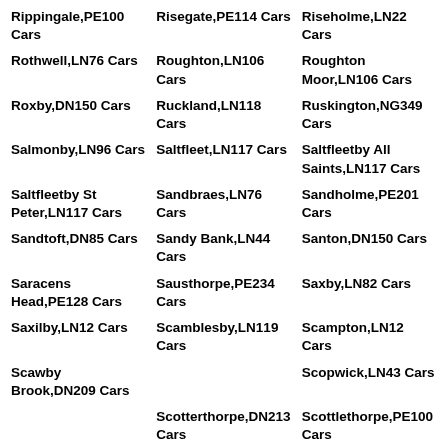Rippingale,PE100 Cars
Risegate,PE114 Cars
Riseholme,LN22 Cars
Rothwell,LN76 Cars
Roughton,LN106 Cars
Roughton Moor,LN106 Cars
Roxby,DN150 Cars
Ruckland,LN118 Cars
Ruskington,NG349 Cars
Salmonby,LN96 Cars
Saltfleet,LN117 Cars
Saltfleetby All Saints,LN117 Cars
Saltfleetby St Peter,LN117 Cars
Sandbraes,LN76 Cars
Sandholme,PE201 Cars
Sandtoft,DN85 Cars
Sandy Bank,LN44 Cars
Santon,DN150 Cars
Saracens Head,PE128 Cars
Sausthorpe,PE234 Cars
Saxby,LN82 Cars
Saxilby,LN12 Cars
Scamblesby,LN119 Cars
Scampton,LN12 Cars
Scawby Brook,DN209 Cars
Scopwick,LN43 Cars
Scotterthorpe,DN213 Cars
Scottlethorpe,PE100 Cars
Scott Willoughby Cars
Scrafield,LN96 Cars
Scrane End,PE220 Cars
Scranby,E235 Cars
Scrivelsby,LN96 Cars
Scrub Hill,LN44 Cars
Scupholme,LN117 Cars
Seacroft,PE253 Cars
Seadyke,PE201 Cars